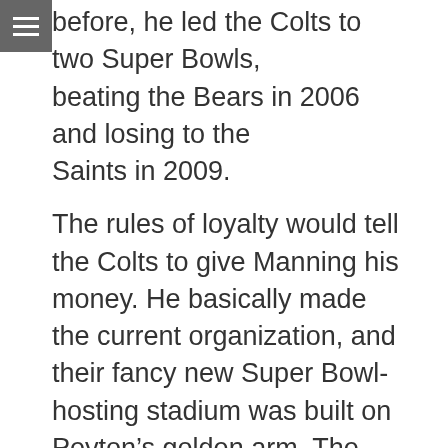before, he led the Colts to two Super Bowls, beating the Bears in 2006 and losing to the Saints in 2009.
The rules of loyalty would tell the Colts to give Manning his money. He basically made the current organization, and their fancy new Super Bowl-hosting stadium was built on Peyton’s golden arm. The “right” thing to do here would be to honor the contract, regardless of whether or not it’s the best thing for the franchise. Peyton gave them fourteen years worth of everything he had to give, so why shouldn’t they give him the money and keep him around another year?
Unfortunately, when it comes to the NFL